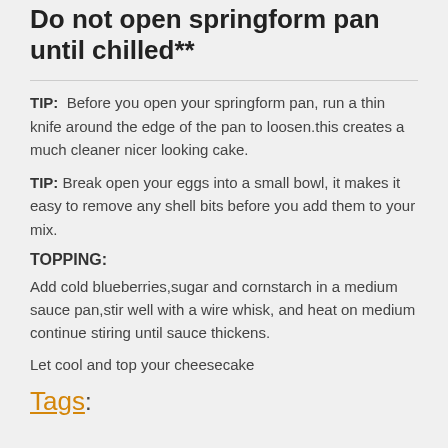Do not open springform pan until chilled**
TIP:  Before you open your springform pan, run a thin knife around the edge of the pan to loosen.this creates a much cleaner nicer looking cake.
TIP: Break open your eggs into a small bowl, it makes it easy to remove any shell bits before you add them to your mix.
TOPPING:
Add cold blueberries,sugar and cornstarch in a medium sauce pan,stir well with a wire whisk, and heat on medium continue stiring until sauce thickens.
Let cool and top your cheesecake
Tags: